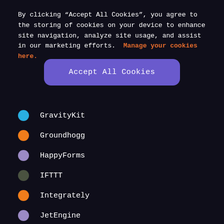By clicking “Accept All Cookies”, you agree to the storing of cookies on your device to enhance site navigation, analyze site usage, and assist in our marketing efforts.  Manage your cookies here.
Accept All Cookies
GravityKit
Groundhogg
HappyForms
IFTTT
Integrately
JetEngine
Kadence Blocks
KlickTipp
LearnDash